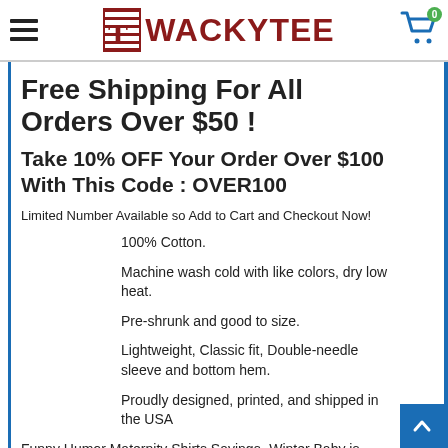WACKYTEE — navigation header with hamburger menu, logo, and cart icon showing 0 items
Free Shipping For All Orders Over $50 !
Take 10% OFF Your Order Over $100 With This Code : OVER100
Limited Number Available so Add to Cart and Checkout Now!
100% Cotton.
Machine wash cold with like colors, dry low heat.
Pre-shrunk and good to size.
Lightweight, Classic fit, Double-needle sleeve and bottom hem.
Proudly designed, printed, and shipped in the USA
Funny Humor Maternity Shirts Sayings- Winter Baby is Coming, funny GoT quotes tshirt for pregnant woman, pregnant woman tshirt, maternity clothes clearance